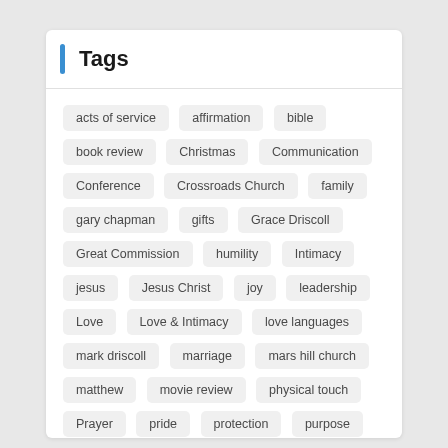Tags
acts of service
affirmation
bible
book review
Christmas
Communication
Conference
Crossroads Church
family
gary chapman
gifts
Grace Driscoll
Great Commission
humility
Intimacy
jesus
Jesus Christ
joy
leadership
Love
Love & Intimacy
love languages
mark driscoll
marriage
mars hill church
matthew
movie review
physical touch
Prayer
pride
protection
purpose